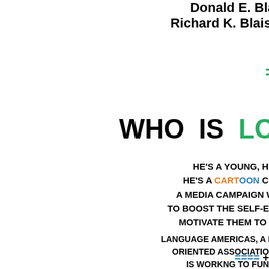Donald E. Bla... Richard K. Blaisi...
=
WHO IS LO...
HE'S A YOUNG, HA... HE'S A CARTOON CHA... A MEDIA CAMPAIGN W... TO BOOST THE SELF-ES... MOTIVATE THEM TO S...
LANGUAGE AMERICAS, A ... ORIENTED ASSOCIATION... IS WORKNG TO FUND ... THREE-YEAR TRIAL PROC... PROPOSAL, HOPEFULLY, ... SEEKING A STIMULUS ... EARMARK ALONG...
==== + ...